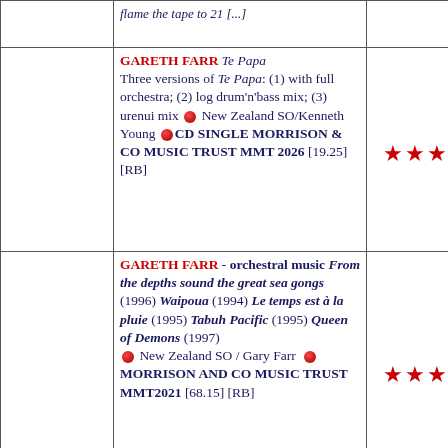|  | GARETH FARR Te Papa Three versions of Te Papa: (1) with full orchestra; (2) log drum'n'bass mix; (3) urenui mix • New Zealand SO/Kenneth Young •CD SINGLE MORRISON & CO MUSIC TRUST MMT 2026 [19.25] [RB] | ★★★★ |
|  | GARETH FARR - orchestral music From the depths sound the great sea gongs (1996) Waipoua (1994) Le temps est à la pluie (1995) Tabuh Pacific (1995) Queen of Demons (1997) • New Zealand SO / Gary Farr • MORRISON AND CO MUSIC TRUST MMT2021 [68.15] [RB] | ★★★★ |
|  | GARETH FARR  chamber music Shadow of the Hawk (1997) Kambang Suling... |  |